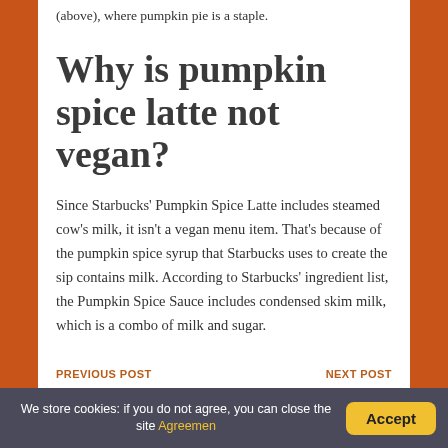(above), where pumpkin pie is a staple.
Why is pumpkin spice latte not vegan?
Since Starbucks' Pumpkin Spice Latte includes steamed cow's milk, it isn't a vegan menu item. That's because of the pumpkin spice syrup that Starbucks uses to create the sip contains milk. According to Starbucks' ingredient list, the Pumpkin Spice Sauce includes condensed skim milk, which is a combo of milk and sugar.
PREVIOUS POST   NEXT POST
We store cookies: if you do not agree, you can close the site Agreemen  Accept